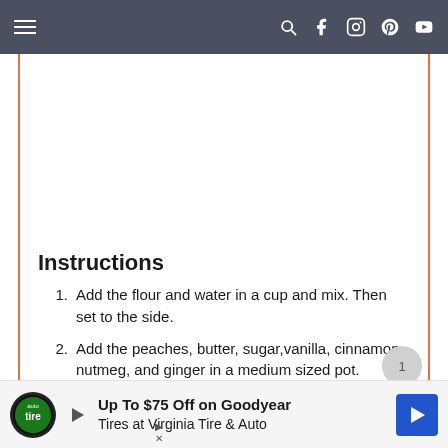Navigation bar with menu, search, Facebook, Instagram, Pinterest, YouTube icons
[Figure (photo): White/blank image area with orange side border lines]
Instructions
1. Add the flour and water in a cup and mix. Then set to the side.
2. Add the peaches, butter, sugar,vanilla, cinnamon, nutmeg, and ginger in a medium sized pot.
3.
[Figure (infographic): Advertisement banner: Up To $75 Off on Goodyear Tires at Virginia Tire & Auto]